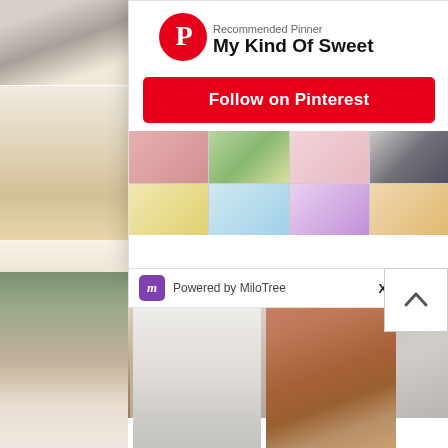[Figure (screenshot): Pinterest 'Recommended Pinner' popup overlay on a Pinterest board. Shows avatar with Pinterest logo, text 'Recommended Pinner - My Kind Of Sweet', a red 'Follow on Pinterest' button, a grid of 8 small Pinterest board images, a 'Powered by MiloTree' footer bar with 'X CLOSE' button, and a scroll-up arrow button. Background shows a Pinterest board grid with fashion, lifestyle, and home images.]
Recommended Pinner
My Kind Of Sweet
Follow on Pinterest
Powered by MiloTree
X CLOSE